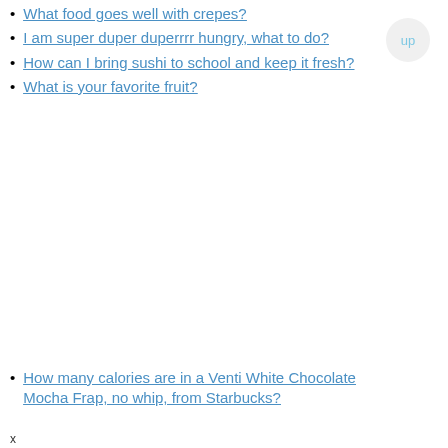What food goes well with crepes?
I am super duper duperrrr hungry, what to do?
How can I bring sushi to school and keep it fresh?
What is your favorite fruit?
How many calories are in a Venti White Chocolate Mocha Frap, no whip, from Starbucks?
x